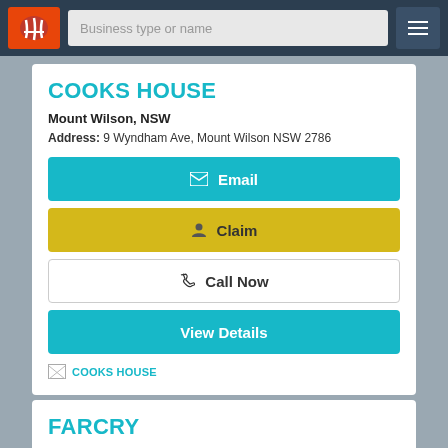Business type or name
COOKS HOUSE
Mount Wilson, NSW
Address: 9 Wyndham Ave, Mount Wilson NSW 2786
Email
Claim
Call Now
View Details
[Figure (other): Broken image placeholder with label COOKS HOUSE]
FARCRY